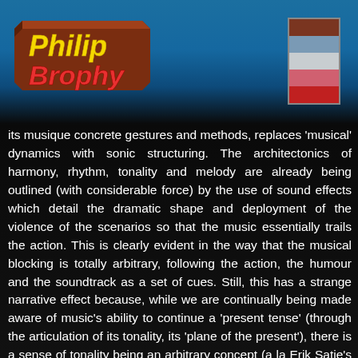[Figure (logo): Philip Brophy logo in 3D block style with brown/yellow/red lettering on a blue-to-dark gradient header background]
[Figure (other): Color swatch rectangle showing horizontal bands of brown, blue/grey, light grey, pink/salmon, and red colors]
its musique concrete gestures and methods, replaces 'musical' dynamics with sonic structuring. The architectonics of harmony, rhythm, tonality and melody are already being outlined (with considerable force) by the use of sound effects which detail the dramatic shape and deployment of the violence of the scenarios so that the music essentially trails the action. This is clearly evident in the way that the musical blocking is totally arbitrary, following the action, the humour and the soundtrack as a set of cues. Still, this has a strange narrative effect because, while we are continually being made aware of music's ability to continue a 'present tense' (through the articulation of its tonality, its 'plane of the present'), there is a sense of tonality being an arbitrary concept (a la Erik Satie's short compositions) in that the music literally goes anywhere and everywhere. This is an interesting reversal of Schoenberg's concept of 'the emancipation of dissonance' because here we have the fantation of consonance and that is being absorbed into